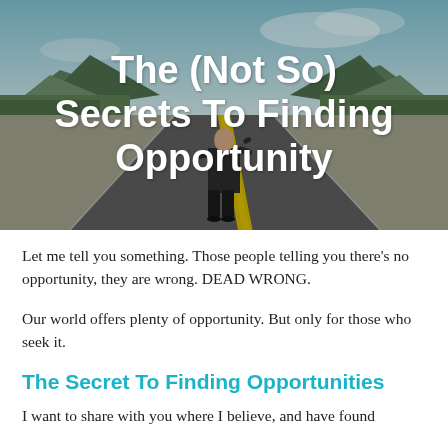[Figure (photo): A person in a suit standing on a long straight road stretching to the horizon, with mountains and trees on either side, viewed from behind. White bold text overlay reads: The (Not So) Secrets To Finding Opportunity]
The (Not So) Secrets To Finding Opportunity
Let me tell you something. Those people telling you there's no opportunity, they are wrong. DEAD WRONG.
Our world offers plenty of opportunity. But only for those who seek it.
The Secret To Finding Opportunities
I want to share with you where I believe, and have found